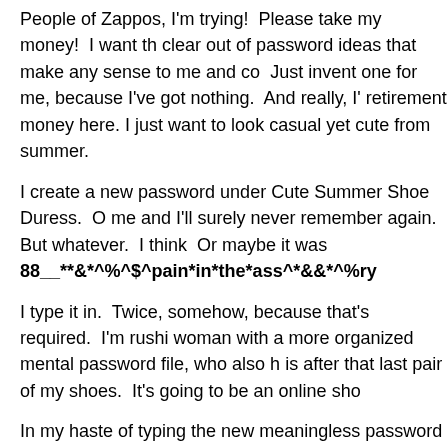People of Zappos, I'm trying!  Please take my money!  I want th clear out of password ideas that make any sense to me and co Just invent one for me, because I've got nothing.  And really, I' retirement money here. I just want to look casual yet cute from summer.
I create a new password under Cute Summer Shoe Duress.  O me and I'll surely never remember again.  But whatever.  I think Or maybe it was 88__**&*^%^$^pain*in*the*ass^*&&*^%ry
I type it in.  Twice, somehow, because that's required.  I'm rushi woman with a more organized mental password file, who also h is after that last pair of my shoes.  It's going to be an online sho
In my haste of typing the new meaningless password twice, I ge
Passwords don't match.
Sonofabitch!  I type them again.
Your password has been changed!
Great.  Whatever it was.  Let's just get on to the business of sh